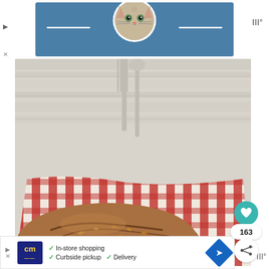[Figure (photo): Top advertisement banner featuring a cat peeking from a blue background with decorative lines and weather icon]
[Figure (photo): Food photography of a rustic sourdough bread loaf wrapped in a red and white checkered kitchen towel, placed on a white weathered wood surface with utensils visible in the background]
163
[Figure (screenshot): Bottom advertisement banner for a grocery delivery service showing logo 'cm', checkmarks for In-store shopping, Curbside pickup, Delivery, and a blue navigation diamond icon]